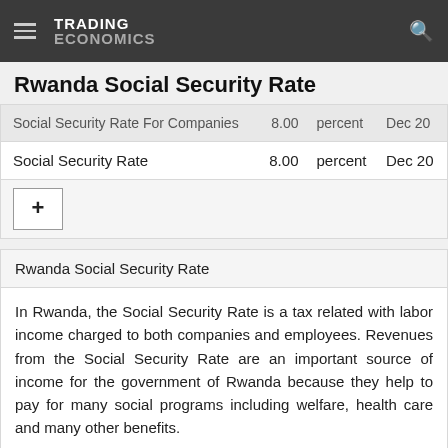TRADING ECONOMICS
Rwanda Social Security Rate
|  | Value | Unit | Date |
| --- | --- | --- | --- |
| Social Security Rate For Companies | 8.00 | percent | Dec 20 |
| Social Security Rate | 8.00 | percent | Dec 20 |
Rwanda Social Security Rate
In Rwanda, the Social Security Rate is a tax related with labor income charged to both companies and employees. Revenues from the Social Security Rate are an important source of income for the government of Rwanda because they help to pay for many social programs including welfare, health care and many other benefits.